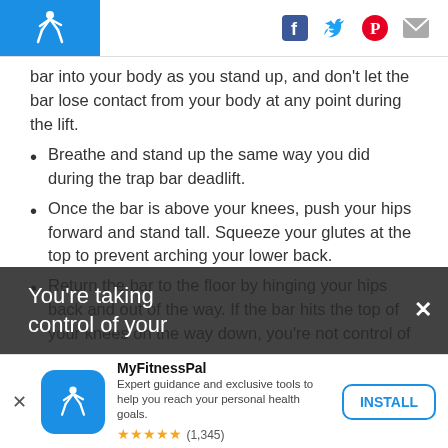MyFitnessPal (logo) | Facebook, Twitter, Pinterest, Mail icons
bar into your body as you stand up, and don't let the bar lose contact from your body at any point during the lift.
Breathe and stand up the same way you did during the trap bar deadlift.
Once the bar is above your knees, push your hips forward and stand tall. Squeeze your glutes at the top to prevent arching your lower back.
Return the bar to the floor by hinging your hips back and out of the way. If the bar hits the top of your knees on the way down, you're not control of your
You're taking control of your
MyFitnessPal
Expert guidance and exclusive tools to help you reach your personal health goals.
★★★★★ (1,345)